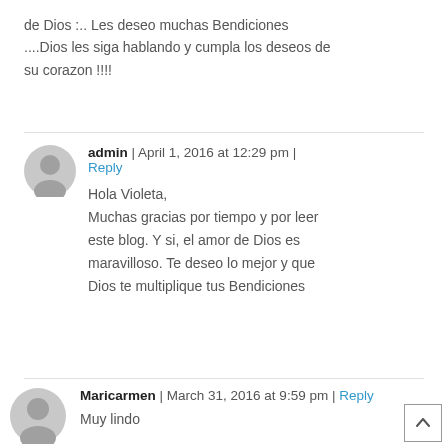de Dios :.. Les deseo muchas Bendiciones ....Dios les siga hablando y cumpla los deseos de su corazon !!!!
admin | April 1, 2016 at 12:29 pm | Reply
Hola Violeta,
Muchas gracias por tiempo y por leer este blog. Y si, el amor de Dios es maravilloso. Te deseo lo mejor y que Dios te multiplique tus Bendiciones
Maricarmen | March 31, 2016 at 9:59 pm | Reply
Muy lindo